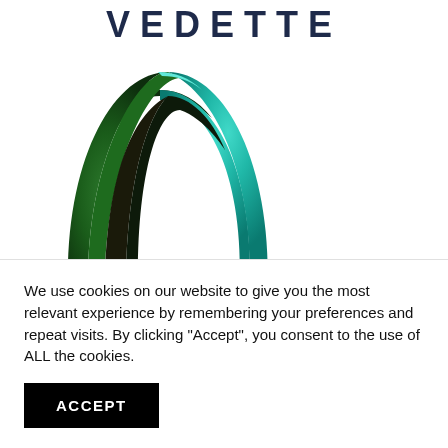[Figure (logo): VEDETTE brand logo text in dark navy, large spaced letters]
[Figure (logo): Vedette 3D arch/caret logo in green and teal gradient]
We use cookies on our website to give you the most relevant experience by remembering your preferences and repeat visits. By clicking “Accept”, you consent to the use of ALL the cookies.
ACCEPT